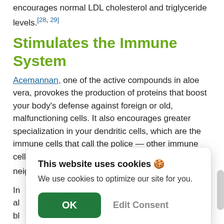encourages normal LDL cholesterol and triglyceride levels.[28, 29]
Stimulates the Immune System
Acemannan, one of the active compounds in aloe vera, provokes the production of proteins that boost your body's defense against foreign or old, malfunctioning cells. It also encourages greater specialization in your dendritic cells, which are the immune cells that call the police — other immune cells — when they see suspicious activity in their neighborhood.[2]
In... al... bl... th...
Encourages Wound Repair
This website uses cookies 🍪
We use cookies to optimize our site for you.
OK   Edit Consent